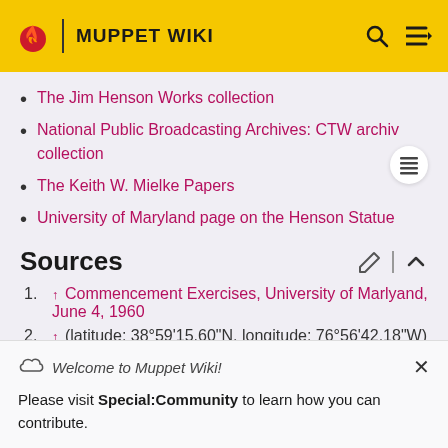MUPPET WIKI
The Jim Henson Works collection
National Public Broadcasting Archives: CTW archives collection
The Keith W. Mielke Papers
University of Maryland page on the Henson Statue
Sources
↑ Commencement Exercises, University of Marlyand, June 4, 1960
↑ (latitude: 38°59'15.60"N, longitude: 76°56'42.18"W)
Welcome to Muppet Wiki!
Please visit Special:Community to learn how you can contribute.